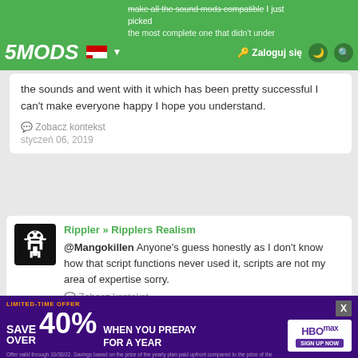5MODS | Zaloguj się
the sounds and went with it which has been pretty successful I can't make everyone happy I hope you understand.
Zobacz kontekst
styczeń 06, 2019
Rippler » Ripplers Realism
@Mangokillen Anyone's guess honestly as I don't know how that script functions never used it, scripts are not my area of expertise sorry.
Zobacz kontekst
styczeń 06, 2019
Rippler » Ripplers Realism
@_Anonymous Thanks for the kind words and yeah sorry about the issues you mentioned I am just not
[Figure (infographic): HBO Max advertisement banner: LIMITED-TIME OFFER SAVE OVER 40% WHEN YOU PREPAY FOR A YEAR with HBO Max logo and SIGN UP NOW button. Fine print below.]